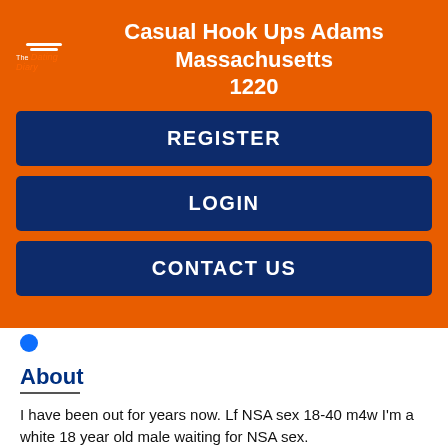Casual Hook Ups Adams Massachusetts 1220
REGISTER
LOGIN
CONTACT US
About
I have been out for years now. Lf NSA sex 18-40 m4w I'm a white 18 year old male waiting for NSA sex.
Name: Colline